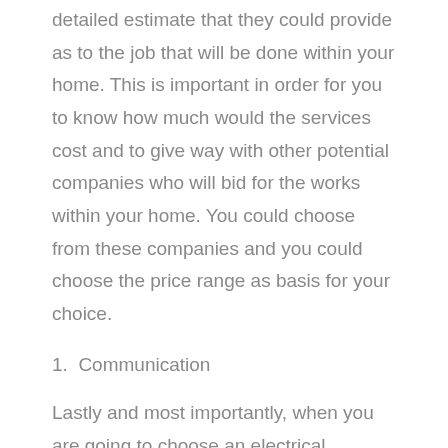detailed estimate that they could provide as to the job that will be done within your home. This is important in order for you to know how much would the services cost and to give way with other potential companies who will bid for the works within your home. You could choose from these companies and you could choose the price range as basis for your choice.
1.  Communication
Lastly and most importantly, when you are going to choose an electrical services provider for your home's electrical system, what you need to understand is that you need to choose